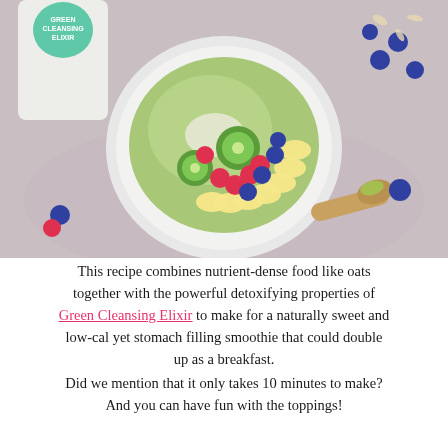[Figure (photo): Overhead photo of a smoothie bowl topped with sliced kiwi, raspberries, blueberries, banana slices, shredded coconut, and green powder, placed on a pink cloth. A bag of Green Cleansing Elixir and a wooden spoon with green powder are also visible.]
This recipe combines nutrient-dense food like oats together with the powerful detoxifying properties of Green Cleansing Elixir to make for a naturally sweet and low-cal yet stomach filling smoothie that could double up as a breakfast. Did we mention that it only takes 10 minutes to make? And you can have fun with the toppings!